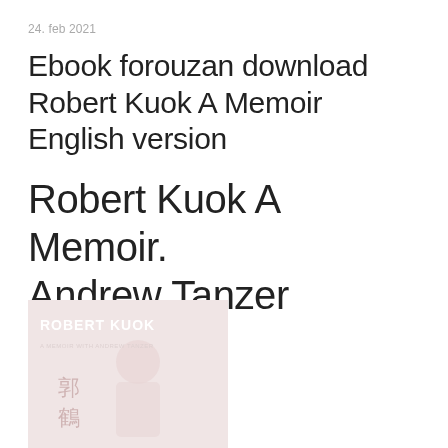24. feb 2021
Ebook forouzan download Robert Kuok A Memoir English version
Robert Kuok A Memoir. Andrew Tanzer
[Figure (photo): Book cover of Robert Kuok A Memoir with Andrew Tanzer. Light pink/beige cover showing text 'ROBERT KUOK' and 'A MEMOIR WITH ANDREW TANZER' with a faded image of a person in white and Chinese characters.]